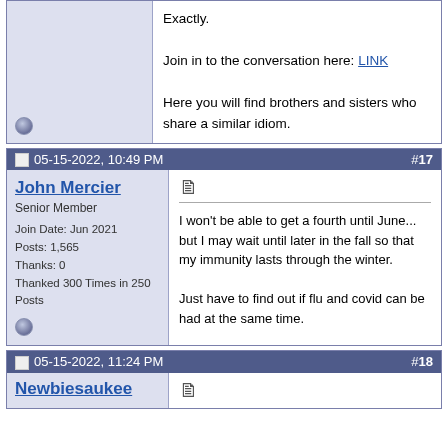Exactly.

Join in to the conversation here: LINK

Here you will find brothers and sisters who share a similar idiom.
05-15-2022, 10:49 PM  #17
John Mercier
Senior Member
Join Date: Jun 2021
Posts: 1,565
Thanks: 0
Thanked 300 Times in 250 Posts
I won't be able to get a fourth until June... but I may wait until later in the fall so that my immunity lasts through the winter.

Just have to find out if flu and covid can be had at the same time.
05-15-2022, 11:24 PM  #18
Newbiesaukee